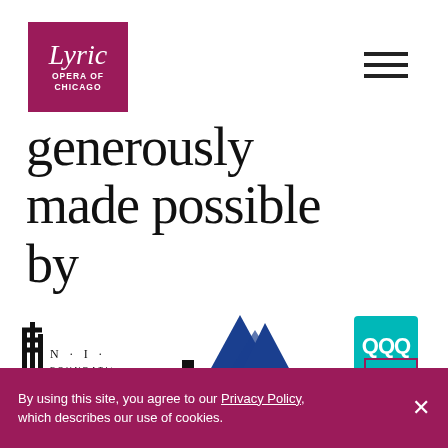[Figure (logo): Lyric Opera of Chicago logo - white text on magenta/maroon square background]
[Figure (illustration): Hamburger menu icon (three horizontal lines)]
generously made possible by
[Figure (logo): N·I·B Foundation logo with vertical bars icon]
[Figure (logo): Invesco logo with mountain graphic in navy blue]
[Figure (logo): QQQ logo in teal/cyan box]
By using this site, you agree to our Privacy Policy, which describes our use of cookies.